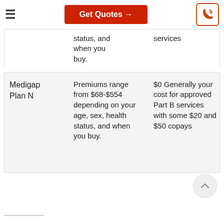Get Quotes →
| Plan | Premium | Part B Services | Other Costs |
| --- | --- | --- | --- |
|  | status, and when you buy. | services | Me
(Po
dec |
| Medigap Plan N | Premiums range from $68-$554 depending on your age, sex, health status, and when you buy. | $0 Generally your cost for approved Part B services with some $20 and $50 copays | $0
(Po
dec
$2
Me
(Po
dec |